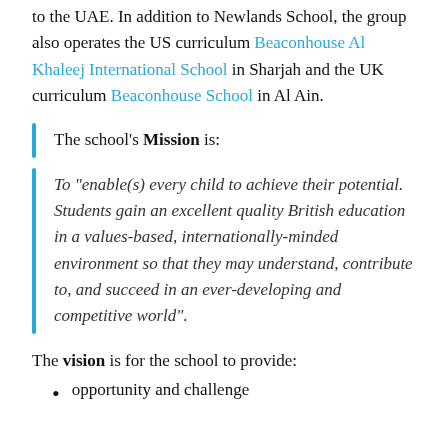to the UAE. In addition to Newlands School, the group also operates the US curriculum Beaconhouse Al Khaleej International School in Sharjah and the UK curriculum Beaconhouse School in Al Ain.
The school's Mission is:
To "enable(s) every child to achieve their potential. Students gain an excellent quality British education in a values-based, internationally-minded environment so that they may understand, contribute to, and succeed in an ever-developing and competitive world".
The vision is for the school to provide:
opportunity and challenge